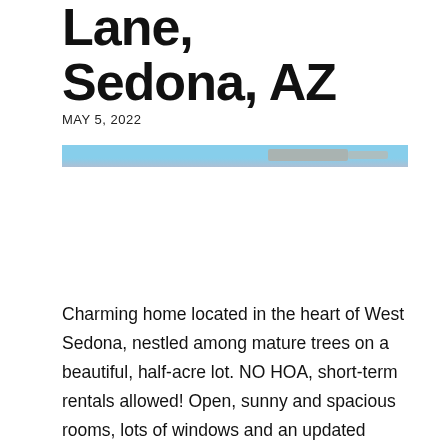Lane, Sedona, AZ
MAY 5, 2022
[Figure (photo): Exterior photo strip showing blue sky and rocky landscape of Sedona, AZ]
Charming home located in the heart of West Sedona, nestled among mature trees on a beautiful, half-acre lot. NO HOA, short-term rentals allowed! Open, sunny and spacious rooms, lots of windows and an updated bonus (Arizona) room for an office/flexspace with views